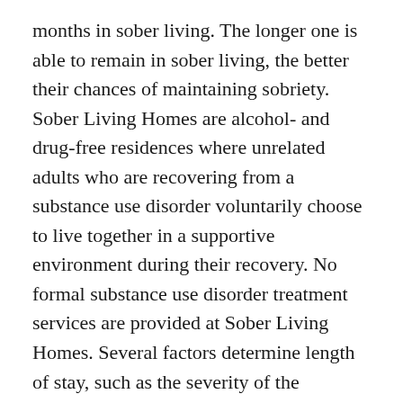months in sober living. The longer one is able to remain in sober living, the better their chances of maintaining sobriety. Sober Living Homes are alcohol- and drug-free residences where unrelated adults who are recovering from a substance use disorder voluntarily choose to live together in a supportive environment during their recovery. No formal substance use disorder treatment services are provided at Sober Living Homes. Several factors determine length of stay, such as the severity of the addiction, a person's history of substance abuse, their recovery progress, ability to follow rules and ability to pay rent. An average day at a sober living home usually includes group breakfasts, lunches and dinners. Most homes have household meetings nightly, and residents often attend treatment, support group